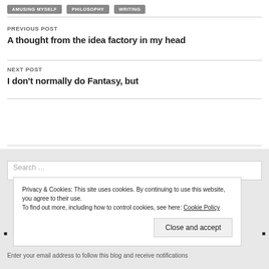AMUSING MYSELF  PHILOSOPHY  WRITING
PREVIOUS POST
A thought from the idea factory in my head
NEXT POST
I don't normally do Fantasy, but
Search ...
Privacy & Cookies: This site uses cookies. By continuing to use this website, you agree to their use.
To find out more, including how to control cookies, see here: Cookie Policy
Close and accept
Enter your email address to follow this blog and receive notifications